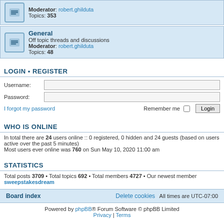Moderator: robert.ghilduta  Topics: 353
General
Off topic threads and discussions
Moderator: robert.ghilduta
Topics: 48
LOGIN • REGISTER
Username:
Password:
I forgot my password   Remember me  Login
WHO IS ONLINE
In total there are 24 users online :: 0 registered, 0 hidden and 24 guests (based on users active over the past 5 minutes)
Most users ever online was 760 on Sun May 10, 2020 11:00 am
STATISTICS
Total posts 3709 • Total topics 692 • Total members 4727 • Our newest member sweepstakesdream
Board index    Delete cookies   All times are UTC-07:00
Powered by phpBB® Forum Software © phpBB Limited
Privacy | Terms